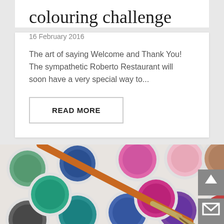colouring challenge
16 February 2016
The art of saying Welcome and Thank You! The sympathetic Roberto Restaurant will soon have a very special way to...
READ MORE
[Figure (photo): A watercolor paint set with multiple circular paint pots in various colors (green, blue, teal, pink, magenta, brown, red, purple, dark grey) with an orange-handled paintbrush resting across the pots on a white background.]